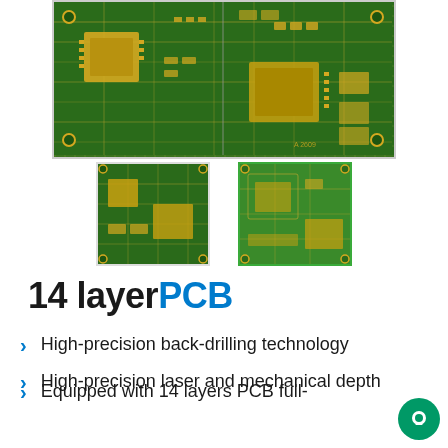[Figure (photo): Top view of a 14-layer green PCB circuit board with gold traces and components]
[Figure (photo): Thumbnail of dark green PCB circuit board]
[Figure (photo): Thumbnail of bright green PCB circuit board]
14 layerPCB
High-precision back-drilling technology
High-precision laser and mechanical depth
Equipped with 14 layers PCB full-